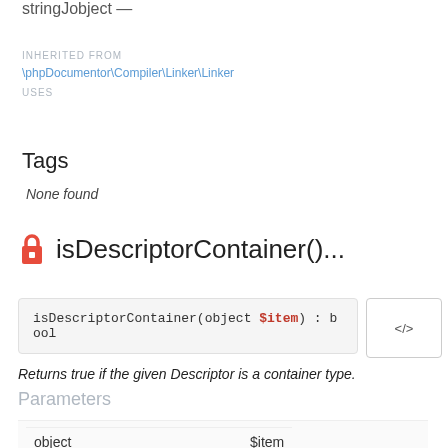stringJobject —
INHERITED FROM
\phpDocumentor\Compiler\Linker\Linker
USES
Tags
None found
isDescriptorContainer()...
isDescriptorContainer(object $item) : bool
Returns true if the given Descriptor is a container type.
Parameters
| Type | Name |
| --- | --- |
| object | $item |